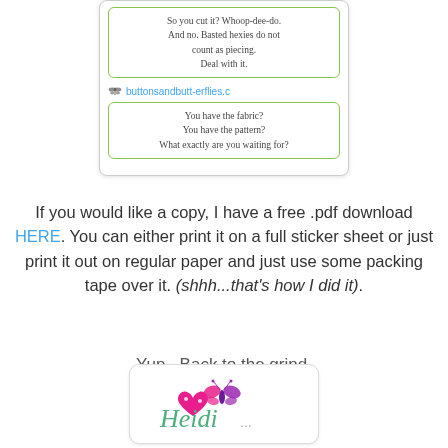[Figure (screenshot): Screenshot of social media/chat post with two green-bordered text bubbles and a username 'buttonsandbutterflies.c'. First bubble: 'So you cut it? Whoop-dee-do. And no. Basted hexies do not count as piecing. Deal with it.' Second bubble: 'You have the fabric? You have the pattern? What exactly are you waiting for?']
If you would like a copy, I have a free .pdf download HERE. You can either print it on a full sticker sheet or just print it out on regular paper and just use some packing tape over it. (shhh...that's how I did it).
Yup.  Back to the grind.
Vacation is OVER.
[Figure (logo): Signature logo with cursive 'Heidi' text in teal/green and a pink heart with a decorative butterfly in pink and purple colors]